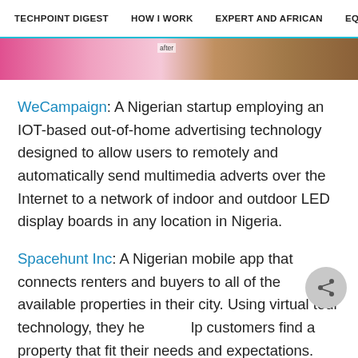TECHPOINT DIGEST   HOW I WORK   EXPERT AND AFRICAN   EQUITY
[Figure (photo): Partial image strip showing pink/rose and brown toned background image]
WeCampaign: A Nigerian startup employing an IOT-based out-of-home advertising technology designed to allow users to remotely and automatically send multimedia adverts over the Internet to a network of indoor and outdoor LED display boards in any location in Nigeria.
Spacehunt Inc: A Nigerian mobile app that connects renters and buyers to all of the available properties in their city. Using virtual tour technology, they help customers find a property that fit their needs and expectations.